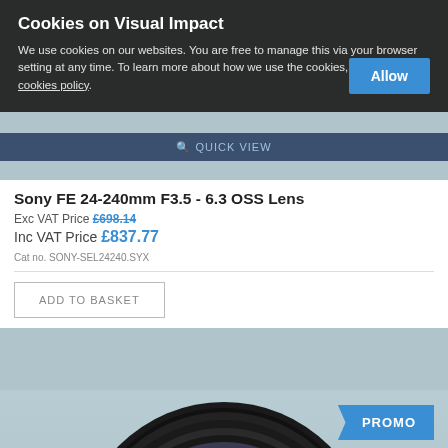Cookies on Visual Impact
We use cookies on our websites. You are free to manage this via your browser setting at any time. To learn more about how we use the cookies, please see our cookies policy.
Allow
[Figure (screenshot): Quick View bar overlay on dark background]
Sony FE 24-240mm F3.5 - 6.3 OSS Lens
Exc VAT Price £698.14
Inc VAT Price £837.77
Cat no. SONY-SEL24240.SYX
ADD TO BASKET
[Figure (photo): Sony FE 24-240mm lens front-on view, black, circular, with PROMO badge]
PROMO